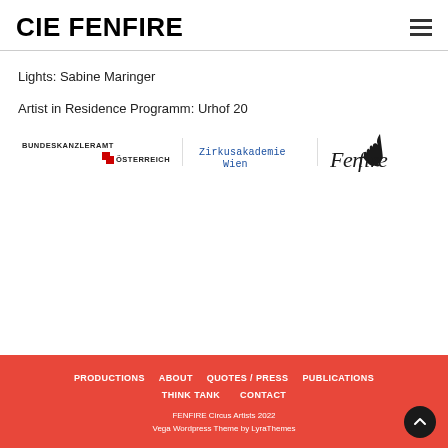CIE FENFIRE
Lights: Sabine Maringer
Artist in Residence Programm: Urhof 20
[Figure (logo): Three sponsor/partner logos: Bundeskanzleramt Österreich, Zirkusakademie Wien, Fenfire logo]
PRODUCTIONS   ABOUT   QUOTES/PRESS   PUBLICATIONS   THINK TANK   CONTACT
FENFIRE Circus Artists 2022
Vega Wordpress Theme by LyraThemes